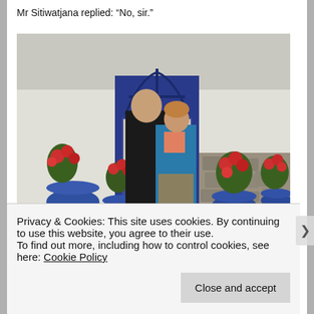Mr Sitiwatjana replied: “No, sir.”
[Figure (photo): Two people (a tall man and a shorter woman in a blue jacket) standing in front of a white building with a blue arched doorway, flanked by red geraniums in blue pots.]
Murder victim Sadie Hartley with her partner Ian
Privacy & Cookies: This site uses cookies. By continuing to use this website, you agree to their use.
To find out more, including how to control cookies, see here: Cookie Policy
Close and accept